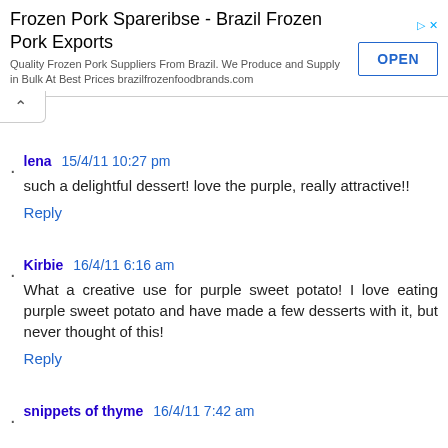[Figure (screenshot): Advertisement banner for Frozen Pork Spareribse - Brazil Frozen Pork Exports with an OPEN button]
lena 15/4/11 10:27 pm
such a delightful dessert! love the purple, really attractive!!
Reply
Kirbie 16/4/11 6:16 am
What a creative use for purple sweet potato! I love eating purple sweet potato and have made a few desserts with it, but never thought of this!
Reply
snippets of thyme 16/4/11 7:42 am